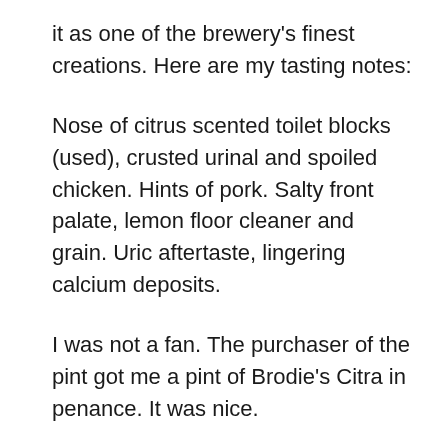it as one of the brewery's finest creations. Here are my tasting notes:
Nose of citrus scented toilet blocks (used), crusted urinal and spoiled chicken. Hints of pork. Salty front palate, lemon floor cleaner and grain. Uric aftertaste, lingering calcium deposits.
I was not a fan. The purchaser of the pint got me a pint of Brodie's Citra in penance. It was nice.
The Blueberry Sour, however, was a